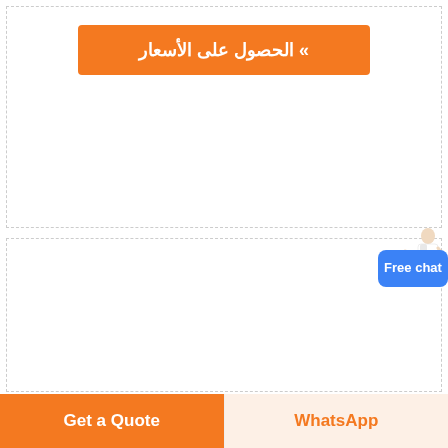[Figure (other): Orange button with Arabic text: الحصول على الأسعار »]
[Figure (other): Free chat bubble button in blue, with a female character illustration pointing to it]
stone crusher merrill crowe plant for sale
[Figure (photo): Photograph of a stone crusher / industrial machinery viewed from below, showing circular crusher components, dark metal structure, with blue elements visible]
[Figure (other): Bottom navigation bar with two buttons: 'Get a Quote' (orange) and 'WhatsApp' (light orange/cream background with orange text)]